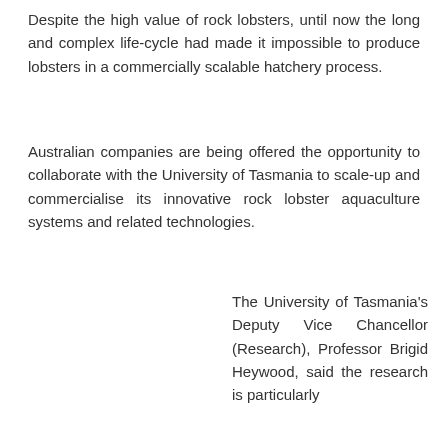Despite the high value of rock lobsters, until now the long and complex life-cycle had made it impossible to produce lobsters in a commercially scalable hatchery process.
Australian companies are being offered the opportunity to collaborate with the University of Tasmania to scale-up and commercialise its innovative rock lobster aquaculture systems and related technologies.
The University of Tasmania's Deputy Vice Chancellor (Research), Professor Brigid Heywood, said the research is particularly